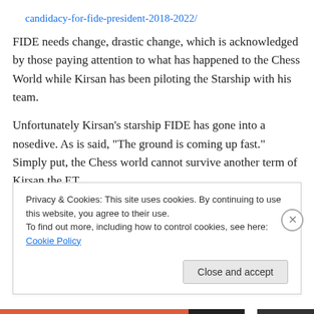candidacy-for-fide-president-2018-2022/
FIDE needs change, drastic change, which is acknowledged by those paying attention to what has happened to the Chess World while Kirsan has been piloting the Starship with his team.
Unfortunately Kirsan’s starship FIDE has gone into a nosedive. As is said, “The ground is coming up fast.” Simply put, the Chess world cannot survive another term of Kirsan the ET.
Privacy & Cookies: This site uses cookies. By continuing to use this website, you agree to their use. To find out more, including how to control cookies, see here: Cookie Policy